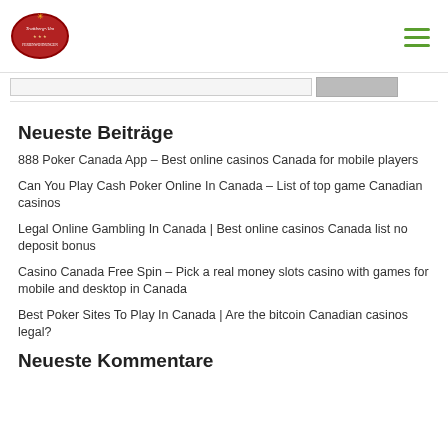Trattberg-Alm
Neueste Beiträge
888 Poker Canada App – Best online casinos Canada for mobile players
Can You Play Cash Poker Online In Canada – List of top game Canadian casinos
Legal Online Gambling In Canada | Best online casinos Canada list no deposit bonus
Casino Canada Free Spin – Pick a real money slots casino with games for mobile and desktop in Canada
Best Poker Sites To Play In Canada | Are the bitcoin Canadian casinos legal?
Neueste Kommentare